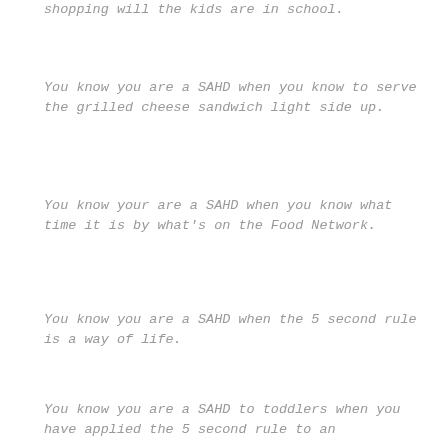shopping will the kids are in school.
You know you are a SAHD when you know to serve the grilled cheese sandwich light side up.
You know your are a SAHD when you know what time it is by what's on the Food Network.
You know you are a SAHD when the 5 second rule is a way of life.
You know you are a SAHD to toddlers when you have applied the 5 second rule to an